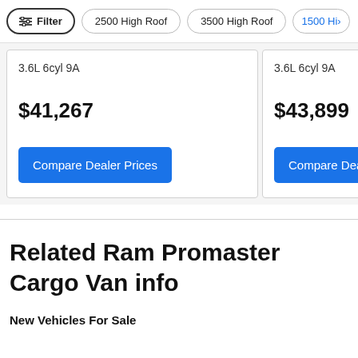Filter | 2500 High Roof | 3500 High Roof | 1500 Hi>
3.6L 6cyl 9A
3.6L 6cyl 9A
$41,267
$43,899
Compare Dealer Prices
Compare Dea
Related Ram Promaster Cargo Van info
New Vehicles For Sale